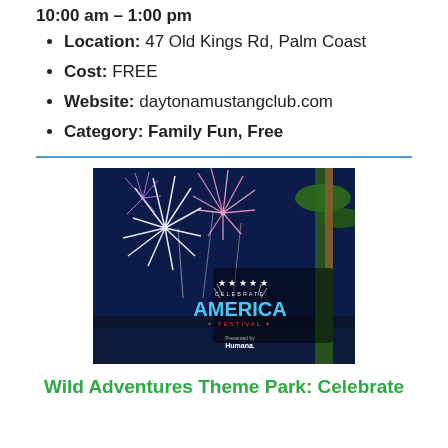Location: 47 Old Kings Rd, Palm Coast
Cost: FREE
Website: daytonamustangclub.com
Category: Family Fun, Free
[Figure (photo): Fireworks display at night with palm trees and 'Celebrate America Festival presented by Humana' logo overlay]
Wild Adventures Theme Park: Celebrate